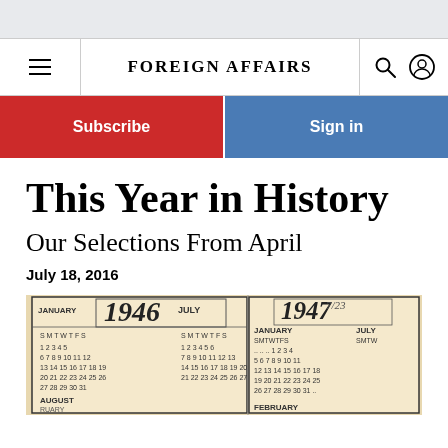FOREIGN AFFAIRS
Subscribe
Sign in
This Year in History
Our Selections From April
July 18, 2016
[Figure (photo): Two vintage calendar pages showing years 1946 and 1947 with month grids visible, sepia-toned photograph]